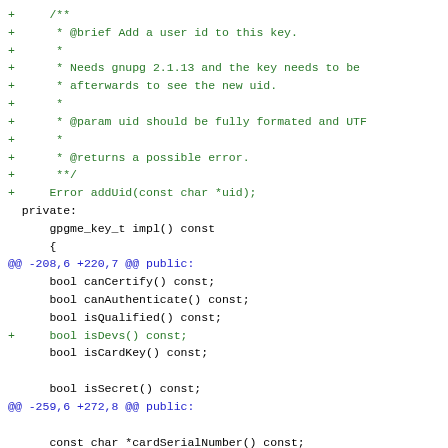[Figure (screenshot): A code diff showing additions to a C++ header file. Green lines prefixed with '+' show added documentation comments and method declarations. Blue lines show diff hunk headers. Black lines show unchanged context code.]